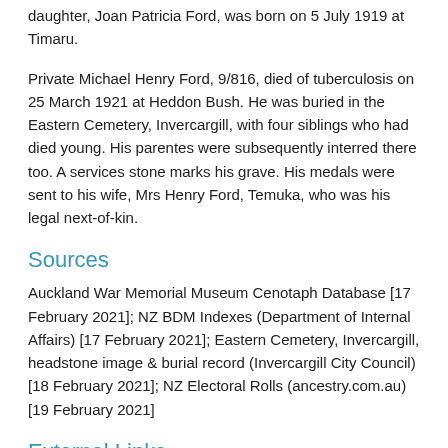daughter, Joan Patricia Ford, was born on 5 July 1919 at Timaru.
Private Michael Henry Ford, 9/816, died of tuberculosis on 25 March 1921 at Heddon Bush. He was buried in the Eastern Cemetery, Invercargill, with four siblings who had died young. His parentes were subsequently interred there too. A services stone marks his grave. His medals were sent to his wife, Mrs Henry Ford, Temuka, who was his legal next-of-kin.
Sources
Auckland War Memorial Museum Cenotaph Database [17 February 2021]; NZ BDM Indexes (Department of Internal Affairs) [17 February 2021]; Eastern Cemetery, Invercargill, headstone image & burial record (Invercargill City Council) [18 February 2021]; NZ Electoral Rolls (ancestry.com.au) [19 February 2021]
External Links
Auckland War Memorial Museum Cenotaph record
Military personnel file
Related Documents